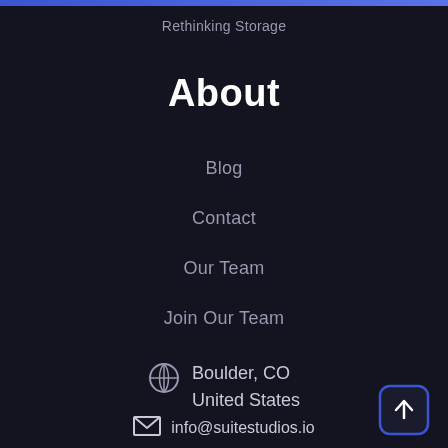Rethinking Storage
About
Blog
Contact
Our Team
Join Our Team
Boulder, CO United States
info@suitestudios.io
603-494-3691